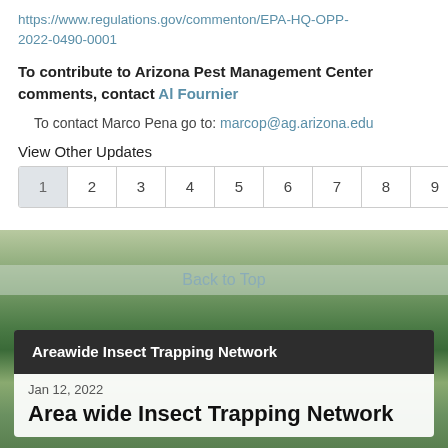https://www.regulations.gov/commenton/EPA-HQ-OPP-2022-0490-0001
To contribute to Arizona Pest Management Center comments, contact Al Fournier
To contact Marco Pena go to: marcop@ag.arizona.edu
View Other Updates
1 2 3 4 5 6 7 8 9 10 »
Back to Top
Areawide Insect Trapping Network
Jan 12, 2022
Area wide Insect Trapping Network